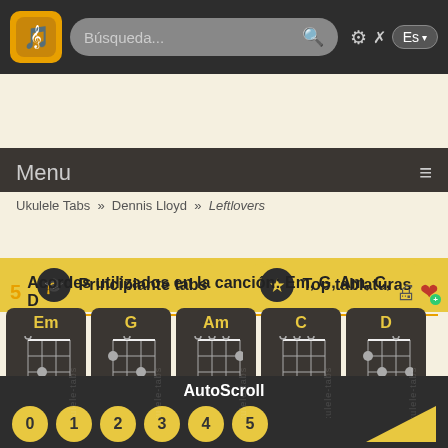Búsqueda... [search bar] ⚙ ✗ Es
Menu
Principiante tabs   Top tablaturas
Ukulele Tabs » Dennis Lloyd » Leftlovers
LEFTLOVERS TAB POR DENNIS LLOYD ★★★★★
5 Acordes utilizados en la canción: Em, G, Am, C, D
[Figure (illustration): Five ukulele chord diagrams for Em, G, Am, C, and D chords, shown as fret grids with finger positions on a dark background.]
AutoScroll
0 1 2 3 4 5